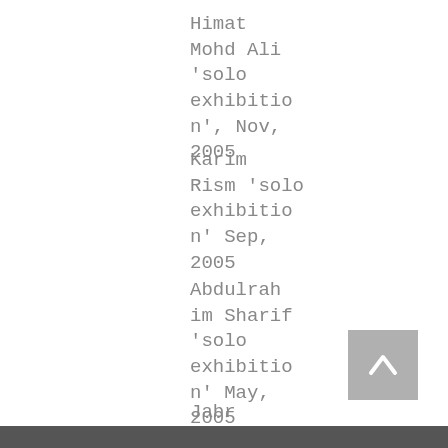Himat Mohd Ali 'solo exhibition', Nov, 2005
Karim Rism 'solo exhibition' Sep, 2005
Abdulrahim Sharif 'solo exhibition' May, 2005
Jabr Alwan '